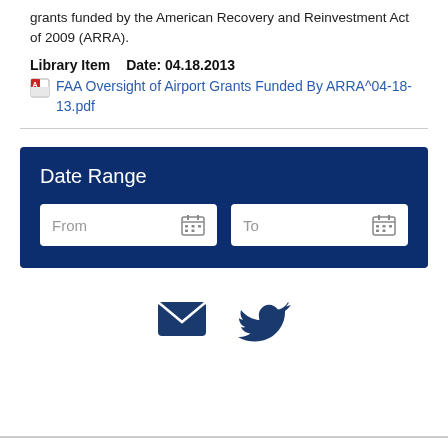grants funded by the American Recovery and Reinvestment Act of 2009 (ARRA).
Library Item   Date: 04.18.2013
FAA Oversight of Airport Grants Funded By ARRA^04-18-13.pdf
Date Range
[Figure (screenshot): Date Range filter with two input fields: 'From' and 'To', each with a calendar icon, on a dark navy blue background]
[Figure (other): Social sharing icons: envelope (email) and Twitter bird, both in dark navy blue color]